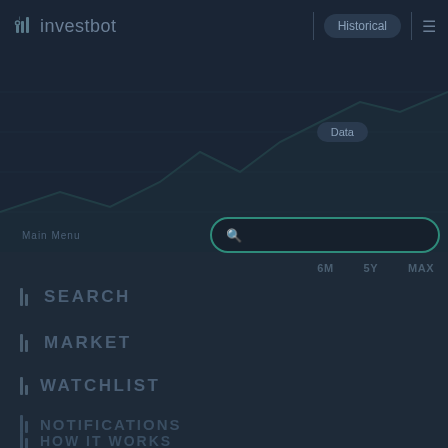investbot | Historical Data
[Figure (screenshot): Investbot app screenshot showing navigation menu with Historical Data panel and search interface on dark background]
Main Menu
6M   5Y   MAX
SEARCH
MARKET
WATCHLIST
NOTIFICATIONS
HOW IT WORKS
Connect with us